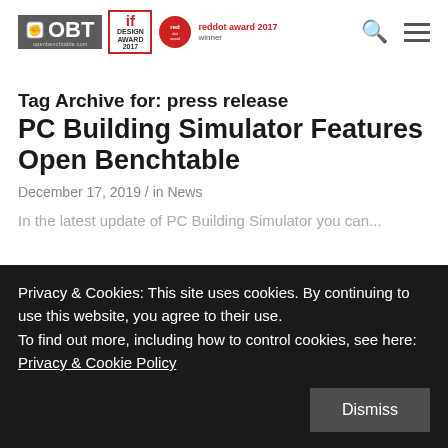[Figure (logo): OBT (Open Benchtable) logo in grey box, iF Design Award 2017 badge, and red dot award 2017 winner logo]
Search and hamburger menu icons
Tag Archive for: press release
PC Building Simulator Features Open Benchtable
December 17, 2019 / in News
In the latest update of PC Building Simulator you can...
Privacy & Cookies: This site uses cookies. By continuing to use this website, you agree to their use.
To find out more, including how to control cookies, see here: Privacy & Cookie Policy
Dismiss